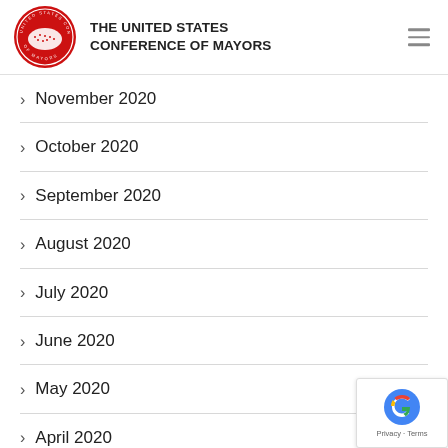THE UNITED STATES CONFERENCE OF MAYORS
November 2020
October 2020
September 2020
August 2020
July 2020
June 2020
May 2020
April 2020